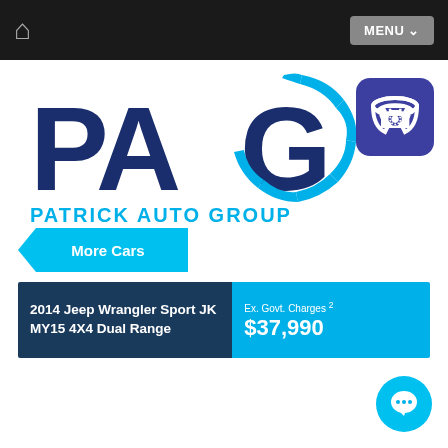Home | MENU
[Figure (logo): Patrick Auto Group logo — 'PAG' in dark navy with a tyre tread graphic forming the G, and 'PATRICK AUTO GROUP' in cyan below]
[Figure (other): Purple rounded square button with white telephone icon]
More Cars
| Car | Price |
| --- | --- |
| 2014 Jeep Wrangler Sport JK MY15 4X4 Dual Range | Ex. Govt. Charges 2
$37,990 |
[Figure (other): Cyan circular chat/message bubble button at bottom right]